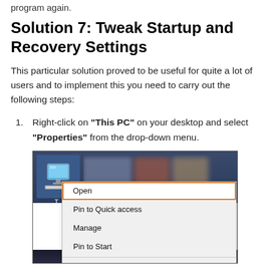program again.
Solution 7: Tweak Startup and Recovery Settings
This particular solution proved to be useful for quite a lot of users and to implement this you need to carry out the following steps:
Right-click on "This PC" on your desktop and select "Properties" from the drop-down menu.
[Figure (screenshot): Windows desktop right-click context menu on 'This PC' icon showing options: Open (highlighted with orange border), Pin to Quick access, Manage, Pin to Start, Map network drive...]